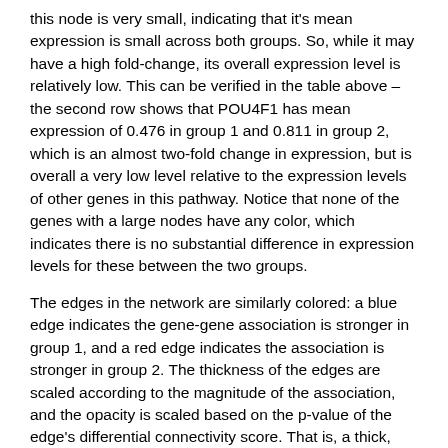this node is very small, indicating that it's mean expression is small across both groups. So, while it may have a high fold-change, its overall expression level is relatively low. This can be verified in the table above – the second row shows that POU4F1 has mean expression of 0.476 in group 1 and 0.811 in group 2, which is an almost two-fold change in expression, but is overall a very low level relative to the expression levels of other genes in this pathway. Notice that none of the genes with a large nodes have any color, which indicates there is no substantial difference in expression levels for these between the two groups.
The edges in the network are similarly colored: a blue edge indicates the gene-gene association is stronger in group 1, and a red edge indicates the association is stronger in group 2. The thickness of the edges are scaled according to the magnitude of the association, and the opacity is scaled based on the p-value of the edge's differential connectivity score. That is, a thick, opaque (i.e. non-transparent) edge indicates a strong association with high statistical evidence of differential connectivity. But a thin, transparent edge indicates a relatively weaker association with less evidence of differential connectivity (high p-value). For example, the red edge between TP53 and BAND is thick – indicating that the association is strong (in at least one of the two groups) compared to other...